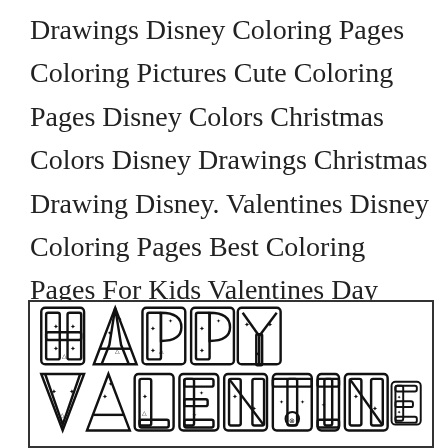Drawings Disney Coloring Pages Coloring Pictures Cute Coloring Pages Disney Colors Christmas Colors Disney Drawings Christmas Drawing Disney. Valentines Disney Coloring Pages Best Coloring Pages For Kids Valentines Day Coloring Page Valentine Coloring Pages Love Coloring Pages.
[Figure (illustration): A coloring page illustration showing 'HAPPY VALENTINES' text in large block letters decorated with star/snowflake patterns inside each letter, rendered in outline style for coloring. The bottom of the image is partially cut off.]